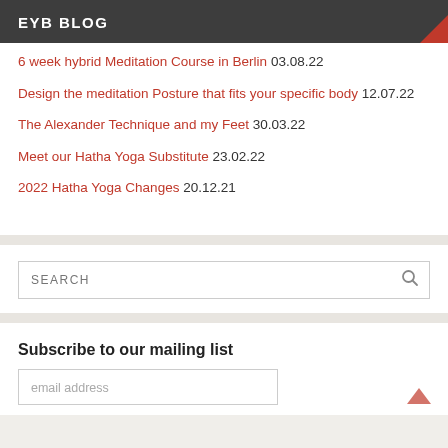EYB BLOG
6 week hybrid Meditation Course in Berlin 03.08.22
Design the meditation Posture that fits your specific body 12.07.22
The Alexander Technique and my Feet 30.03.22
Meet our Hatha Yoga Substitute 23.02.22
2022 Hatha Yoga Changes 20.12.21
SEARCH
Subscribe to our mailing list
email address